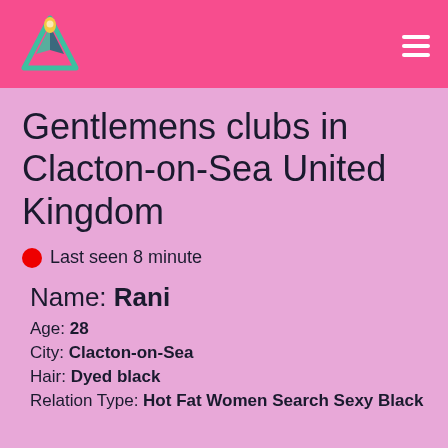Gentlemens clubs in Clacton-on-Sea United Kingdom
Last seen 8 minute
Name: Rani
Age: 28
City: Clacton-on-Sea
Hair: Dyed black
Relation Type: Hot Fat Women Search Sexy Black